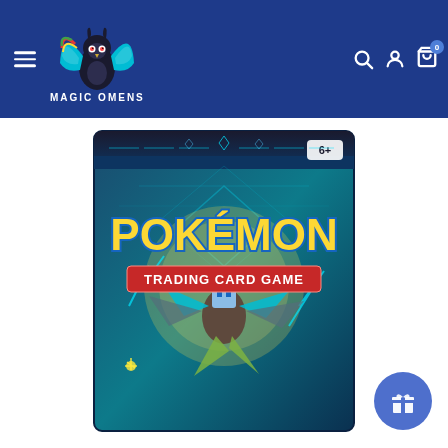[Figure (logo): Magic Omens store logo: a blue and teal owl/hawk with colorful wings and dark body, text 'MAGIC OMENS' below, on dark blue header background]
[Figure (photo): Pokemon Trading Card Game booster pack featuring Kartana, teal/blue geometric background, 'POKEMON' in yellow letters, 'TRADING CARD GAME' on red banner, '6+' age label in top right corner]